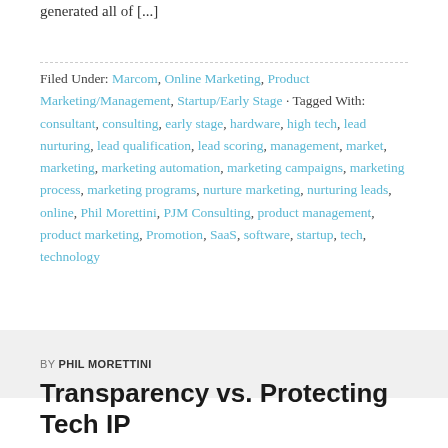generated all of [...]
Filed Under: Marcom, Online Marketing, Product Marketing/Management, Startup/Early Stage · Tagged With: consultant, consulting, early stage, hardware, high tech, lead nurturing, lead qualification, lead scoring, management, market, marketing, marketing automation, marketing campaigns, marketing process, marketing programs, nurture marketing, nurturing leads, online, Phil Morettini, PJM Consulting, product management, product marketing, Promotion, SaaS, software, startup, tech, technology
BY PHIL MORETTINI
Transparency vs. Protecting Tech IP